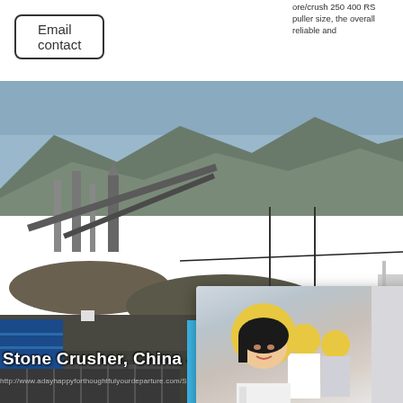Email contact
ore/crush 250 400 RS
puller size, the overall
reliable and
[Figure (photo): Industrial quarry/stone crushing plant with conveyors, mountains in background, overcast sky]
[Figure (photo): Live chat popup overlay showing female worker in white shirt and yellow hard hat in foreground, two workers behind her, red LIVE CHAT title, 'Click for a Free Consultation' subtitle, Chat now (red) and Chat later (dark) buttons]
hour online
[Figure (photo): White cone crusher machine on blue sidebar background]
Click me to chat>>
Enquiry
mumumugoods
Stone Crusher, China Jaw
http://www.adayhappyforthoughtfulyourdeparture.com/Stied